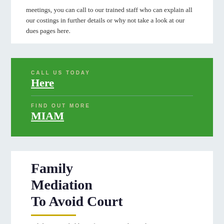meetings, you can call to our trained staff who can explain all our costings in further details or why not take a look at our dues pages here.
CALL US TODAY
Here
FIND OUT MORE
MIAM
Family Mediation To Avoid Court
While you probably prefer to proceed straight to Court,